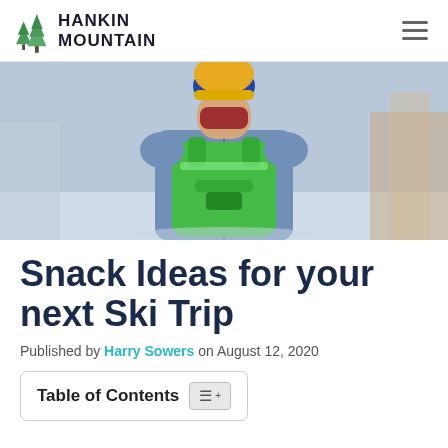HANKIN MOUNTAIN
[Figure (photo): Person seen from behind wearing a yellow and blue beanie hat, denim jacket, and bright green backpack, standing in a snowy mountain ski resort area]
Snack Ideas for your next Ski Trip
Published by Harry Sowers on August 12, 2020
Table of Contents